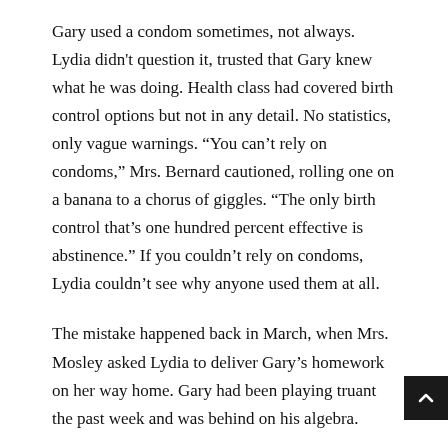Gary used a condom sometimes, not always. Lydia didn't question it, trusted that Gary knew what he was doing. Health class had covered birth control options but not in any detail. No statistics, only vague warnings. “You can’t rely on condoms,” Mrs. Bernard cautioned, rolling one on a banana to a chorus of giggles. “The only birth control that’s one hundred percent effective is abstinence.” If you couldn’t rely on condoms, Lydia couldn’t see why anyone used them at all.
The mistake happened back in March, when Mrs. Mosley asked Lydia to deliver Gary’s homework on her way home. Gary had been playing truant the past week and was behind on his algebra.
“I’ll take it to him,” Lydia said, accepting the envelope of worksheets, “but I don’t think he’ll care.”